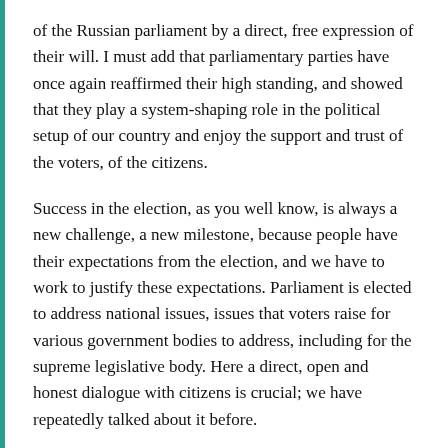of the Russian parliament by a direct, free expression of their will. I must add that parliamentary parties have once again reaffirmed their high standing, and showed that they play a system-shaping role in the political setup of our country and enjoy the support and trust of the voters, of the citizens.
Success in the election, as you well know, is always a new challenge, a new milestone, because people have their expectations from the election, and we have to work to justify these expectations. Parliament is elected to address national issues, issues that voters raise for various government bodies to address, including for the supreme legislative body. Here a direct, open and honest dialogue with citizens is crucial; we have repeatedly talked about it before.
The election was based on a mixed system that you had unanimously supported – half of the deputies are elected to parliament from single-mandate constituencies. This means a closer and more reliable connection between the lower